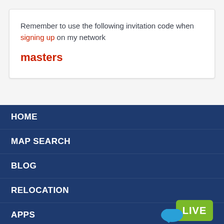Remember to use the following invitation code when signing up on my network
masters
HOME
MAP SEARCH
BLOG
RELOCATION
APPS
[Figure (other): Green LIVE badge button in bottom right corner]